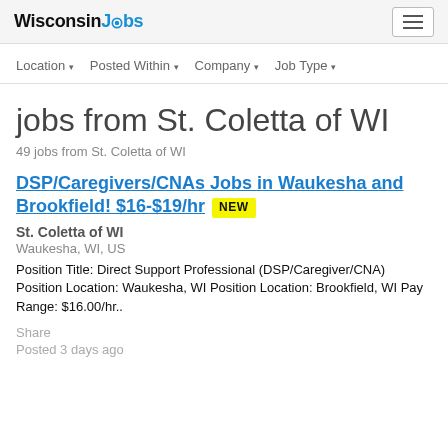WisconsinJobs
Location ▾   Posted Within ▾   Company ▾   Job Type ▾
jobs from St. Coletta of WI
49 jobs from St. Coletta of WI
DSP/Caregivers/CNAs Jobs in Waukesha and Brookfield! $16-$19/hr NEW
St. Coletta of WI
Waukesha, WI, US
Position Title: Direct Support Professional (DSP/Caregiver/CNA) Position Location: Waukesha, WI Position Location: Brookfield, WI Pay Range: $16.00/hr..
Share
Posted 3 days ago